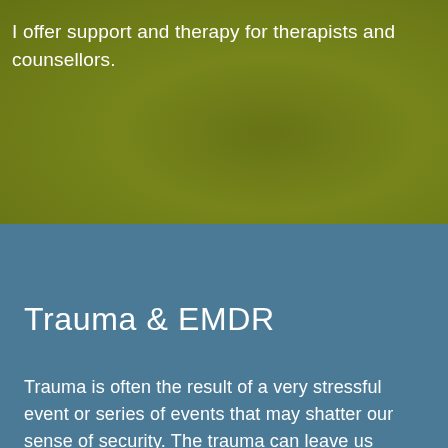I offer support and therapy for therapists and counsellors.
Trauma & EMDR
Trauma is often the result of a very stressful event or series of events that may shatter our sense of security. The trauma can leave us